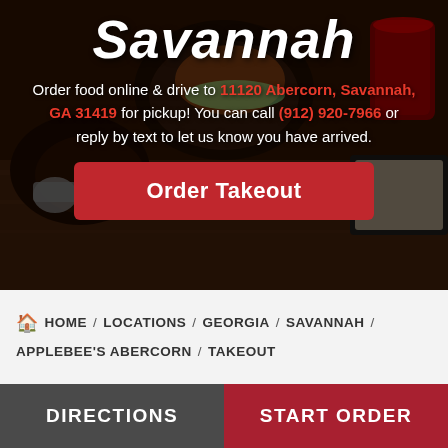Savannah
Order food online & drive to 11120 Abercorn, Savannah, GA 31419 for pickup! You can call (912) 920-7966 or reply by text to let us know you have arrived.
Order Takeout
HOME / LOCATIONS / GEORGIA / SAVANNAH / APPLEBEE'S ABERCORN / TAKEOUT
DIRECTIONS | START ORDER